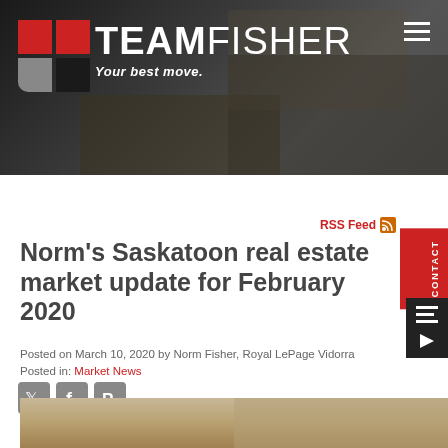[Figure (photo): Team Fisher real estate website header banner with darkened interior room background photo]
TEAMFISHER — Your best move.
RSS Feed
Norm's Saskatoon real estate market update for February 2020
Posted on March 10, 2020 by Norm Fisher, Royal LePage Vidorra
Posted in: Market News
[Figure (photo): Bottom strip showing partial photo of people in a room]